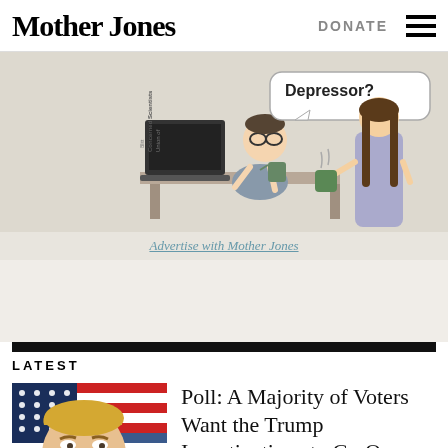Mother Jones
[Figure (illustration): Cartoon illustration: a person at a desk with a speech bubble reading 'Depressor?' and another person holding a steaming mug, labeled with Union of Concerned Scientists / Blitt logos]
Advertise with Mother Jones
LATEST
[Figure (photo): Photo of Donald Trump in front of an American flag]
Poll: A Majority of Voters Want the Trump Investigations to Go On